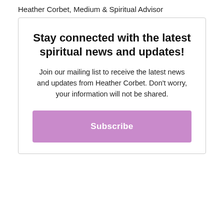Heather Corbet, Medium & Spiritual Advisor
Stay connected with the latest spiritual news and updates!
Join our mailing list to receive the latest news and updates from Heather Corbet. Don't worry, your information will not be shared.
Subscribe